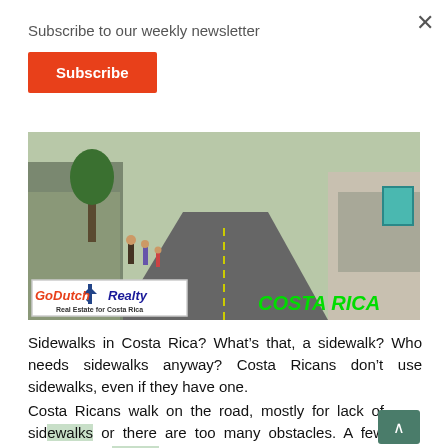Subscribe to our weekly newsletter
Subscribe
[Figure (photo): Street scene in Costa Rica showing a narrow road with pedestrians walking, houses on both sides, with GoDutch Realty logo overlay bottom left and 'COSTA RICA' text bottom right]
Sidewalks in Costa Rica? What’s that, a sidewalk? Who needs sidewalks anyway? Costa Ricans don’t use sidewalks, even if they have one.
Costa Ricans walk on the road, mostly for lack of sidewalks or there are too many obstacles. A few weeks ago, I wrote about obstacles on the roads of Costa Rica.